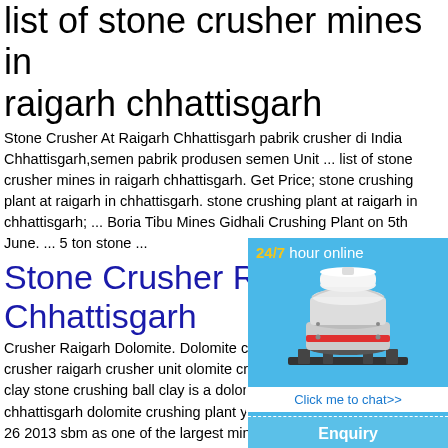list of stone crusher mines in raigarh chhattisgarh
Stone Crusher At Raigarh Chhattisgarh pabrik crusher di India Chhattisgarh,semen pabrik produsen semen Unit ... list of stone crusher mines in raigarh chhattisgarh. Get Price; stone crushing plant at raigarh in chhattisgarh. stone crushing plant at raigarh in chhattisgarh; ... Boria Tibu Mines Gidhali Crushing Plant on 5th June. ... 5 ton stone ...
Stone Crusher Raigarh Chhattisgarh
Crusher Raigarh Dolomite. Dolomite crusher raigarh crusher unit olomite crusher clay stone crushing ball clay is a dolomite s ba chhattisgarh dolomite crushing plant youtub ay 26 2013 sbm as one of the largest mining a equipments price in india dolomite crusher
List Of Stone Crusher M
[Figure (infographic): Widget overlay with '24/7 hour online' header in yellow/white on blue background, image of a cone crusher machine, a 'Click me to chat>>' button, an 'Enquiry' section, and 'limingjlmofen' footer text.]